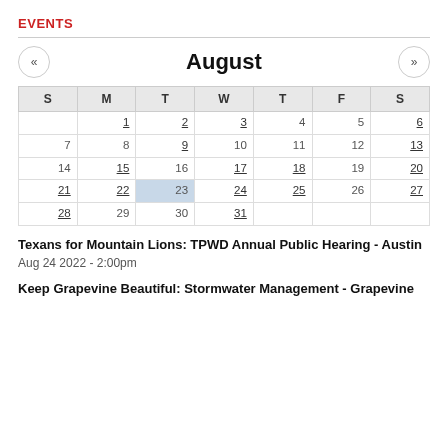EVENTS
| S | M | T | W | T | F | S |
| --- | --- | --- | --- | --- | --- | --- |
|  | 1 | 2 | 3 | 4 | 5 | 6 |
| 7 | 8 | 9 | 10 | 11 | 12 | 13 |
| 14 | 15 | 16 | 17 | 18 | 19 | 20 |
| 21 | 22 | 23 | 24 | 25 | 26 | 27 |
| 28 | 29 | 30 | 31 |  |  |  |
Texans for Mountain Lions: TPWD Annual Public Hearing - Austin
Aug 24 2022 - 2:00pm
Keep Grapevine Beautiful: Stormwater Management - Grapevine